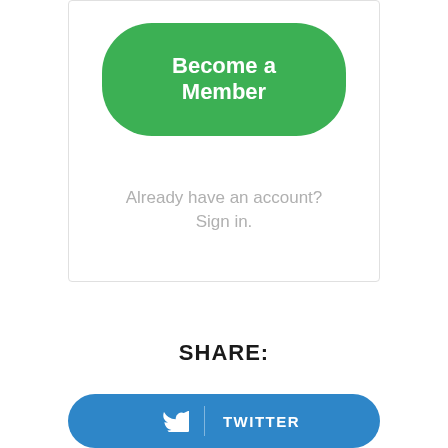[Figure (screenshot): Green rounded button with white bold text reading 'Become a Member']
Already have an account? Sign in.
SHARE:
[Figure (screenshot): Blue rounded button with Twitter bird icon and white text 'TWITTER']